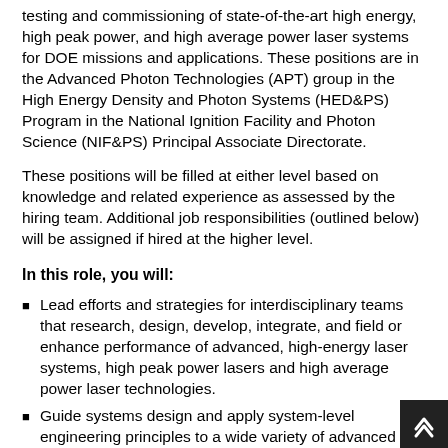testing and commissioning of state-of-the-art high energy, high peak power, and high average power laser systems for DOE missions and applications. These positions are in the Advanced Photon Technologies (APT) group in the High Energy Density and Photon Systems (HED&PS) Program in the National Ignition Facility and Photon Science (NIF&PS) Principal Associate Directorate.
These positions will be filled at either level based on knowledge and related experience as assessed by the hiring team. Additional job responsibilities (outlined below) will be assigned if hired at the higher level.
In this role, you will:
Lead efforts and strategies for interdisciplinary teams that research, design, develop, integrate, and field or enhance performance of advanced, high-energy laser systems, high peak power lasers and high average power laser technologies.
Guide systems design and apply system-level engineering principles to a wide variety of advanced laser design and analysis projects using novel approaches to develop operational, system, and